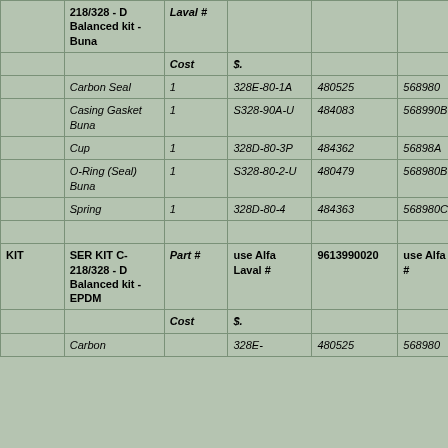|  | SER KIT C-218/328 - D Balanced kit - Buna | Part # | use Alfa Laval # |  | use Alfa Laval # | use Alfa Laval # |  |
| --- | --- | --- | --- | --- | --- | --- | --- |
|  | 218/328 - D Balanced kit - Buna | Laval # |  |  |  | Laval # |  |
|  |  | Cost | $. |  |  |  |  |
|  | Carbon Seal | 1 | 328E-80-1A | 480525 | 568980 | 328E-80-1A |  |
|  | Casing Gasket Buna | 1 | S328-90A-U | 484083 | 568990B | S328-90A-U |  |
|  | Cup | 1 | 328D-80-3P | 484362 | 56898A | 328D-80-3P |  |
|  | O-Ring (Seal) Buna | 1 | S328-80-2-U | 480479 | 568980B | S328-80-2-U |  |
|  | Spring | 1 | 328D-80-4 | 484363 | 568980C | 328D-80-4 |  |
|  |  |  |  |  |  |  |  |
| KIT | SER KIT C-218/328 - D Balanced kit - EPDM | Part # | use Alfa Laval # | 9613990020 | use Alfa Laval # | use Alfa Laval # | u |
|  |  | Cost | $. |  |  |  |  |
|  | Carbon |  | 328E- | 480525 | 568980 | 328E- |  |